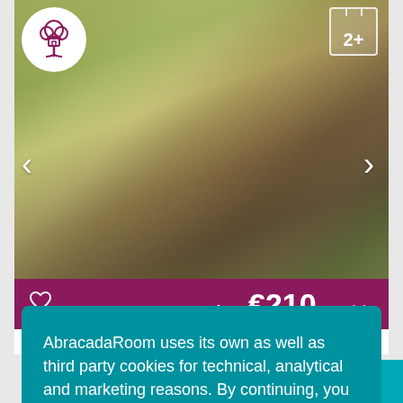[Figure (screenshot): AbracadaRoom accommodation listing page screenshot showing a blurred outdoor/treehouse photo with navigation arrows, a treehouse icon in the top-left circle, a calendar '2+' icon in top-right, a dark pink price bar showing 'from €210 per night' with a heart icon, and a teal cookie consent popup overlay with 'Close' button]
AbracadaRoom uses its own as well as third party cookies for technical, analytical and marketing reasons. By continuing, you agree to our use of cookies. Learn More